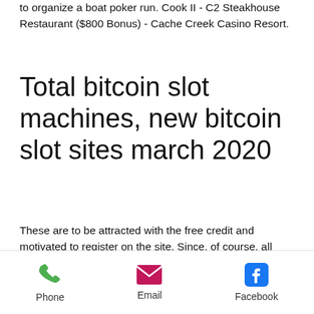to organize a boat poker run. Cook II - C2 Steakhouse Restaurant ($800 Bonus) - Cache Creek Casino Resort.
Total bitcoin slot machines, new bitcoin slot sites march 2020
These are to be attracted with the free credit and motivated to register on the site. Since, of course, all sites on the net want to attract as many new players as possible, the offers are getting better and better through this competitive pressure. A quite simple to be sophisticated system, in which one can benefit from competition at the online gambling market as a gambler. This is quite simple: Step 1: The casino site with the best Bonus offered Find  cryptocurrency slots
Phone  Email  Facebook